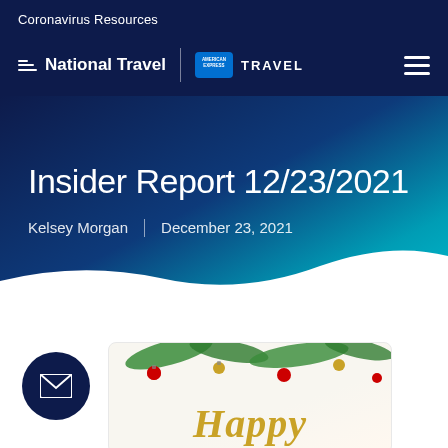Coronavirus Resources
[Figure (logo): National Travel | American Express TRAVEL logo with hamburger menu]
Insider Report 12/23/2021
Kelsey Morgan | December 23, 2021
[Figure (illustration): Email/newsletter subscribe button (dark navy circle with envelope icon) and partial holiday greeting card showing pine branches, ornaments and 'Happy' in gold script]